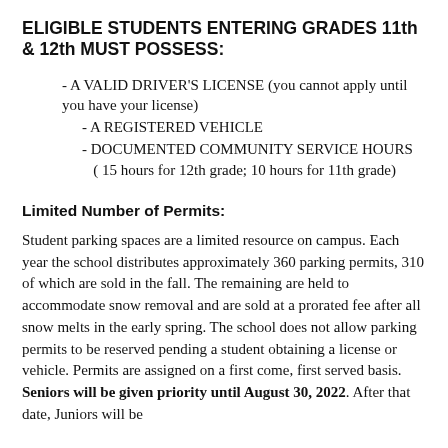ELIGIBLE STUDENTS ENTERING GRADES 11th & 12th MUST POSSESS:
- A VALID DRIVER'S LICENSE (you cannot apply until you have your license)
- A REGISTERED VEHICLE
- DOCUMENTED COMMUNITY SERVICE HOURS
( 15 hours for 12th grade; 10 hours for 11th grade)
Limited Number of Permits:
Student parking spaces are a limited resource on campus. Each year the school distributes approximately 360 parking permits, 310 of which are sold in the fall. The remaining are held to accommodate snow removal and are sold at a prorated fee after all snow melts in the early spring. The school does not allow parking permits to be reserved pending a student obtaining a license or vehicle. Permits are assigned on a first come, first served basis. Seniors will be given priority until August 30, 2022. After that date, Juniors will be considered if space is available.